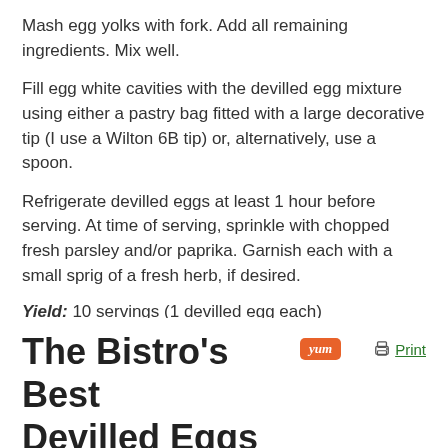Mash egg yolks with fork. Add all remaining ingredients. Mix well.
Fill egg white cavities with the devilled egg mixture using either a pastry bag fitted with a large decorative tip (I use a Wilton 6B tip) or, alternatively, use a spoon.
Refrigerate devilled eggs at least 1 hour before serving. At time of serving, sprinkle with chopped fresh parsley and/or paprika. Garnish each with a small sprig of a fresh herb, if desired.
Yield: 10 servings (1 devilled egg each)
The Bistro's Best Devilled Eggs
Yield: 10 servings